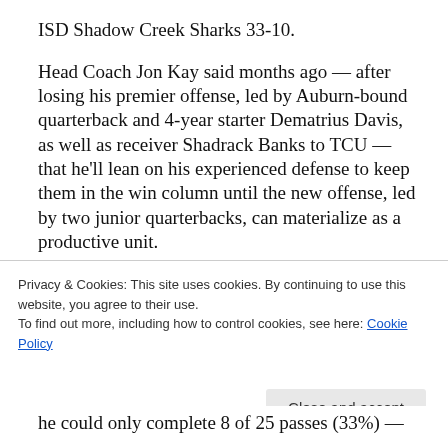ISD Shadow Creek Sharks 33-10.
Head Coach Jon Kay said months ago — after losing his premier offense, led by Auburn-bound quarterback and 4-year starter Dematrius Davis, as well as receiver Shadrack Banks to TCU — that he'll lean on his experienced defense to keep them in the win column until the new offense, led by two junior quarterbacks, can materialize as a productive unit.
The Eastside Peoples fame from K
Privacy & Cookies: This site uses cookies. By continuing to use this website, you agree to their use.
To find out more, including how to control cookies, see here: Cookie Policy
Close and accept
he could only complete 8 of 25 passes (33%) —